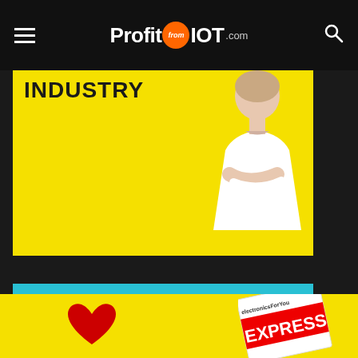ProfitfromIOT.com — navigation header
[Figure (photo): Yellow promotional banner with text 'INDUSTRY' in large bold uppercase letters and a woman in white blazer with arms crossed on a yellow background]
[Figure (infographic): Blue advertisement banner: 'Growth Mantras for Electronics Businesses & Startups' with 'TO DISCOVER, CLICK HERE' button and Electronics For You EXPRESS magazine cover image]
[Figure (infographic): Yellow bottom strip with red heart icon and Electronics For You EXPRESS magazine cover]